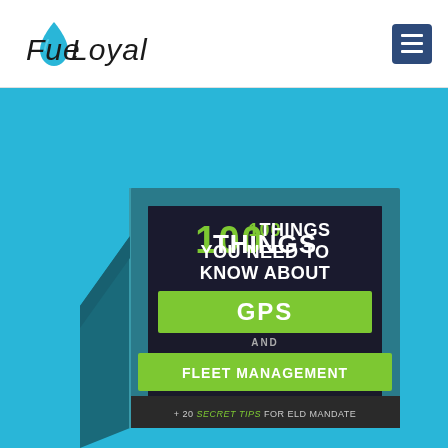[Figure (logo): FuelLoyal company logo with blue water drop icon and stylized text reading 'FueLoyaL']
[Figure (screenshot): Navigation menu button (hamburger icon) with dark blue background]
[Figure (photo): Book cover image showing a 3D rendered book with title '100 THINGS YOU NEED TO KNOW ABOUT GPS AND FLEET MANAGEMENT + 20 SECRET TIPS FOR ELD MANDATE' on a blue background. The book has a dark teal cover with green and white text on a dark panel.]